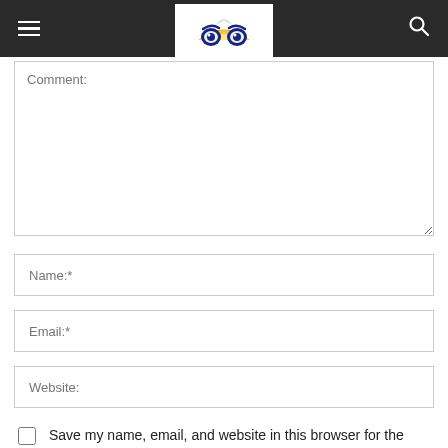[Figure (logo): Website navigation bar with hamburger menu icon on left, owl logo in center white box, and search icon on right, all on dark background]
Comment:
Name:*
Email:*
Website:
Save my name, email, and website in this browser for the next time I comment.